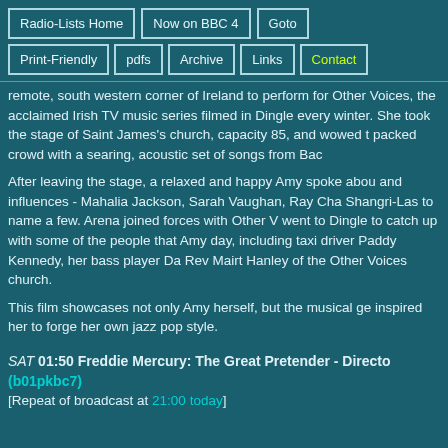Radio-Lists Home | Now on BBC 4 | Goto
Print-Friendly | pdfs | Archive | Links | Contact
remote, south western corner of Ireland to perform for Other Voices, the acclaimed Irish TV music series filmed in Dingle every winter. She took to the stage of Saint James's church, capacity 85, and wowed the packed crowd with a searing, acoustic set of songs from Bac...
After leaving the stage, a relaxed and happy Amy spoke about her heroes and influences - Mahalia Jackson, Sarah Vaughan, Ray Charles, The Shangri-Las to name a few. Arena joined forces with Other Voices and went to Dingle to catch up with some of the people that Amy met that day, including taxi driver Paddy Kennedy, her bass player Da... and Rev Mairt Hanley of the Other Voices church.
This film showcases not only Amy herself, but the musical ge... that inspired her to forge her own jazz pop style.
SAT 01:50 Freddie Mercury: The Great Pretender - Directo... (b01pkbc7)
[Repeat of broadcast at 21:00 today]